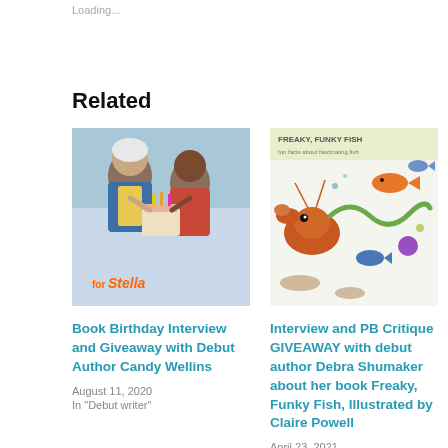Loading...
Related
[Figure (illustration): Book cover 'for Stella' showing two children with a cake]
Book Birthday Interview and Giveaway with Debut Author Candy Wellins
August 11, 2020
In "Debut writer"
[Figure (illustration): Book cover 'Freaky Funky Fish' showing colorful fish illustrations]
Interview and PB Critique GIVEAWAY with debut author Debra Shumaker about her book Freaky, Funky Fish, Illustrated by Claire Powell
April 23, 2021